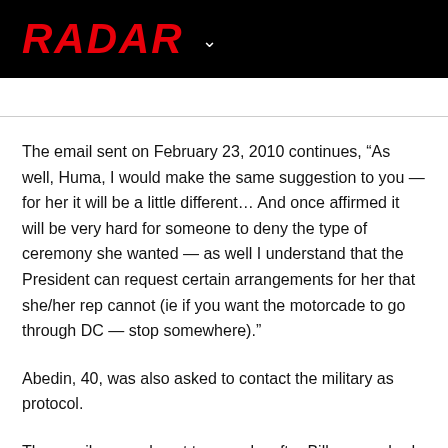RADAR
The email sent on February 23, 2010 continues, “As well, Huma, I would make the same suggestion to you — for her it will be a little different… And once affirmed it will be very hard for someone to deny the type of ceremony she wanted — as well I understand that the President can request certain arrangements for her that she/her rep cannot (ie if you want the motorcade to go through DC — stop somewhere).”
Abedin, 40, was also asked to contact the military as protocol.
The email came almost two weeks after Bill was rushed to the